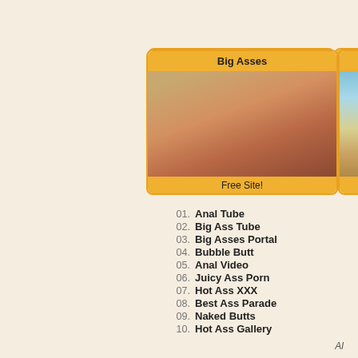[Figure (photo): Card with title 'Big Asses', photo of person, caption 'Free Site!']
[Figure (photo): Card with title 'Ass', partially visible, photo of person on beach, caption 'Fr...']
01.  Anal Tube
02.  Big Ass Tube
03.  Big Asses Portal
04.  Bubble Butt
05.  Anal Video
06.  Juicy Ass Porn
07.  Hot Ass XXX
08.  Best Ass Parade
09.  Naked Butts
10.  Hot Ass Gallery
Al